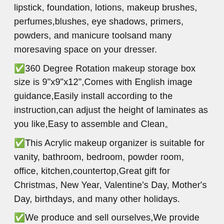lipstick, foundation, lotions, makeup brushes, perfumes,blushes, eye shadows, primers, powders, and manicure toolsand many more⁠saving space on your dresser.
✅360 Degree Rotation makeup storage box size is 9"x9"x12",Comes with English image guidance,Easily install according to the instruction,can adjust the height of laminates as you like,Easy to assemble and Clean。
✅This Acrylic makeup organizer is suitable for vanity, bathroom, bedroom, powder room, office, kitchen,countertop,Great gift for Christmas, New Year, Valentine’s Day, Mother’s Day, birthdays, and many other holidays.
✅We produce and sell ourselves,We provide the best price,our team make the best service, the best use of acrylic, if quality and Transport damage